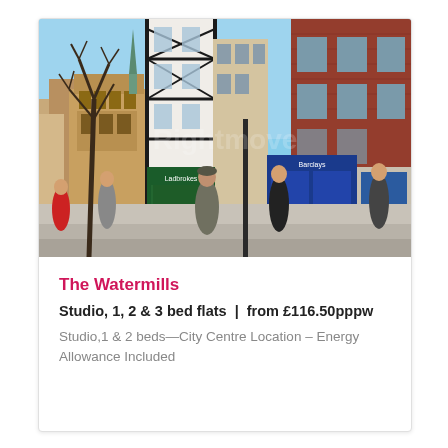[Figure (photo): Street-level photo of a busy UK city centre pedestrian shopping street with historic brick and timber-framed buildings, shopfronts including a Ladbrokes and blue-fronted shop, people walking, and bare winter trees on a sunny day.]
The Watermills
Studio, 1, 2 & 3 bed flats | from £116.50pppw
Studio,1 & 2 beds—City Centre Location – Energy Allowance Included